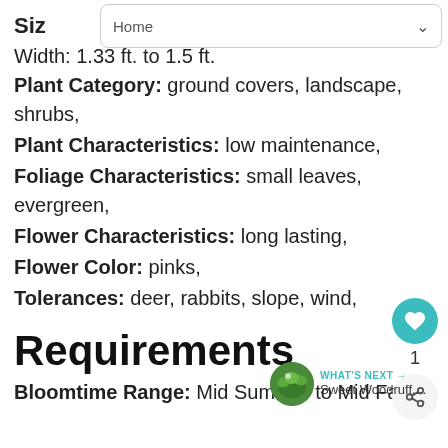[Figure (screenshot): Navigation bar with 'Home' label and dropdown chevron]
Size
Width: 1.33 ft. to 1.5 ft.
Plant Category: ground covers, landscape, shrubs,
Plant Characteristics: low maintenance,
Foliage Characteristics: small leaves, evergreen,
Flower Characteristics: long lasting,
Flower Color: pinks,
Tolerances: deer, rabbits, slope, wind,
Requirements
Bloomtime Range: Mid Summer to Mid Fall